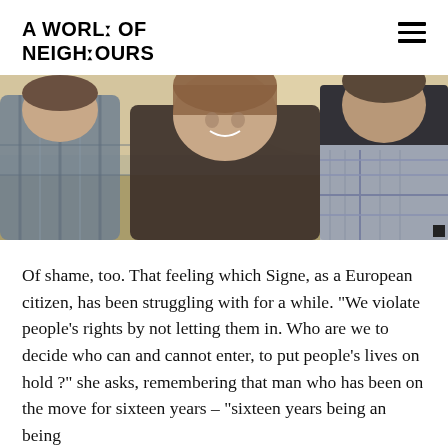A WORLD OF NEIGHBOURS
[Figure (photo): Outdoor photo of three people smiling closely together, backlit by sunlight, wearing casual clothing including a plaid shirt and a patterned scarf.]
Of shame, too. That feeling which Signe, as a European citizen, has been struggling with for a while. "We violate people's rights by not letting them in. Who are we to decide who can and cannot enter, to put people's lives on hold ?" she asks, remembering that man who has been on the move for sixteen years – "sixteen years being an being